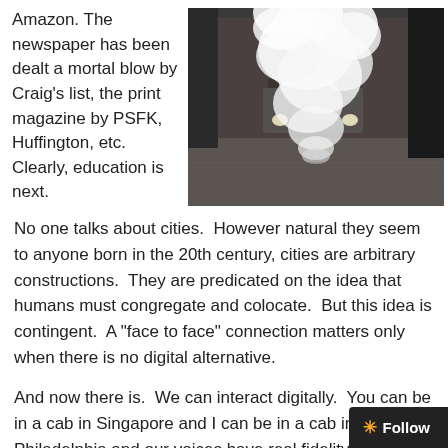Amazon. The newspaper has been dealt a mortal blow by Craig’s list, the print magazine by PSFK, Huffington, etc.  Clearly, education is next.
[Figure (photo): A dark urban alley scene with a large cloud of white steam or smoke rising from the ground, a car with headlights visible in the background.]
No one talks about cities.  However natural they seem to anyone born in the 20th century, cities are arbitrary constructions.  They are predicated on the idea that humans must congregate and colocate.  But this idea is contingent.  A "face to face" connection matters only when there is no digital alternative.
And now there is.  We can interact digitally.  You can be in a cab in Singapore and I can be in a cab in Philadelphia and our voices have real fidelity.  If we don’t need to be in mo